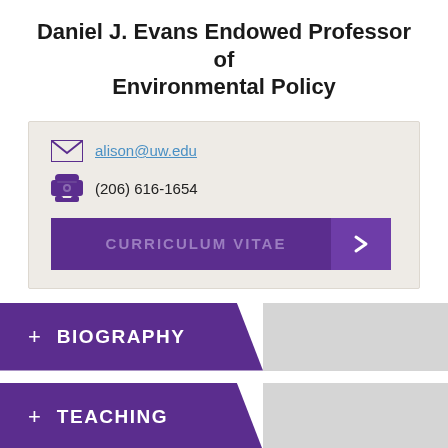Daniel J. Evans Endowed Professor of Environmental Policy
alison@uw.edu
(206) 616-1654
CURRICULUM VITAE
+ BIOGRAPHY
+ TEACHING